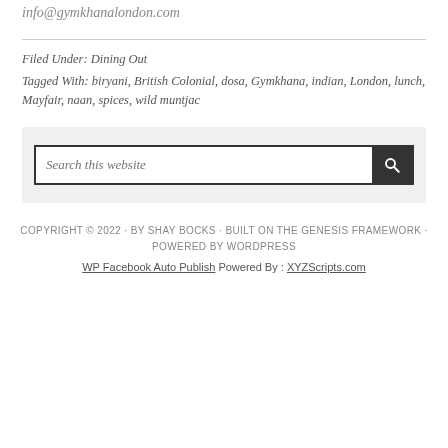info@gymkhanalondon.com
Filed Under: Dining Out
Tagged With: biryani, British Colonial, dosa, Gymkhana, indian, London, lunch, Mayfair, naan, spices, wild muntjac
Search this website
COPYRIGHT © 2022 · BY SHAY BOCKS · BUILT ON THE GENESIS FRAMEWORK · POWERED BY WORDPRESS
WP Facebook Auto Publish Powered By : XYZScripts.com